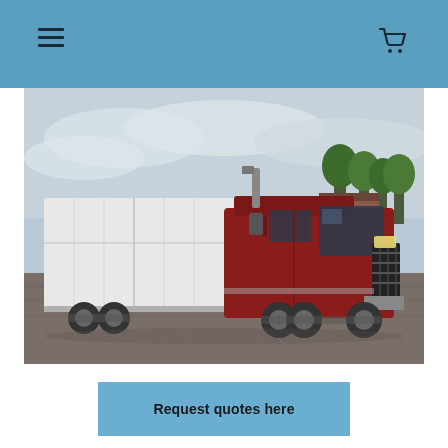Navigation header with menu and cart icons
[Figure (photo): Red semi-truck with white trailer parked on a gravel lot with trees and industrial buildings in the background under an overcast sky]
Request quotes here